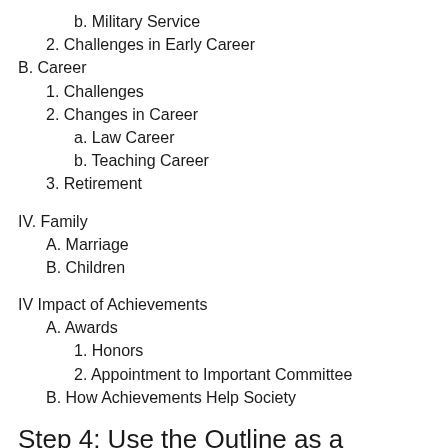b. Military Service
2. Challenges in Early Career
B. Career
1. Challenges
2. Changes in Career
a. Law Career
b. Teaching Career
3. Retirement
IV. Family
A. Marriage
B. Children
IV Impact of Achievements
A. Awards
1. Honors
2. Appointment to Important Committee
B. How Achievements Help Society
Step 4: Use the Outline as a Structure